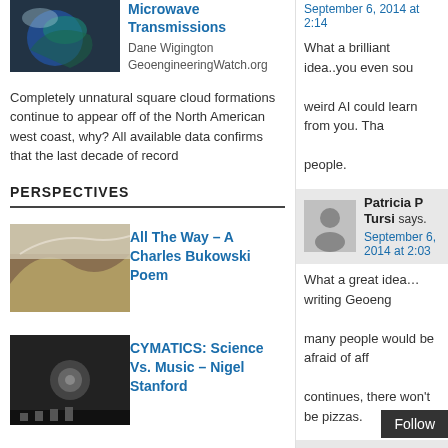[Figure (photo): Satellite image of a storm/earth]
Microwave Transmissions
Dane Wigington GeoengineeringWatch.org Completely unnatural square cloud formations continue to appear off of the North American west coast, why? All available data confirms that the last decade of record
PERSPECTIVES
[Figure (photo): Sky with cloud formations]
All The Way – A Charles Bukowski Poem
[Figure (photo): Dark image, science/music related]
CYMATICS: Science Vs. Music – Nigel Stanford
[Figure (photo): Person speaking at podium, outdoor setting]
The Most Inspiring Speech: The Wisdom Of A Third Grade Dropout Will Change Your Life – Rick
September 6, 2014 at 2:14
What a brilliant idea..you even sou weird AI could learn from you. Tha people.
[Figure (photo): Avatar placeholder for Patricia P Tursi]
Patricia P Tursi says. September 6, 2014 at 2:03
What a great idea…writing Geoengi many people would be afraid of aff continues, there won't be pizzas.
[Figure (photo): Avatar placeholder for Patricia P Tursi]
Patricia P Tursi says. September 6, 2014 at 2:01
So does Hillary…who recently said them is ignorant and ea
Follow